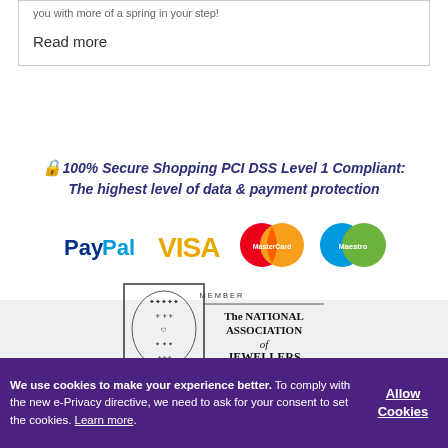you with more of a spring in your step!
Read more
🔒 100% Secure Shopping PCI DSS Level 1 Compliant: The highest level of data & payment protection
[Figure (logo): Payment method logos: PayPal, VISA, MasterCard, Maestro]
[Figure (logo): Member - The National Association of Jewellers - The Mark of Quality logo]
We use cookies to make your experience better. To comply with the new e-Privacy directive, we need to ask for your consent to set the cookies. Learn more. Allow Cookies.